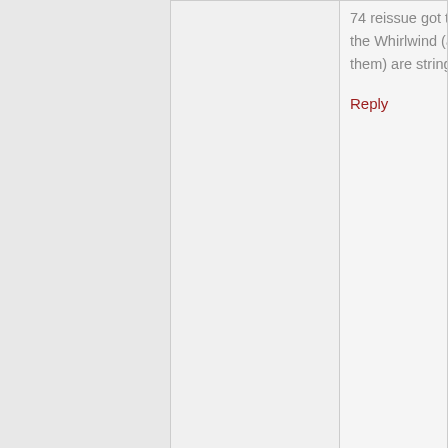74 reissue got the mojo but the Whirlwind (all three of them) are string competitors
Reply
Bern Merchant
says:
November 6, 2015 at 12:05